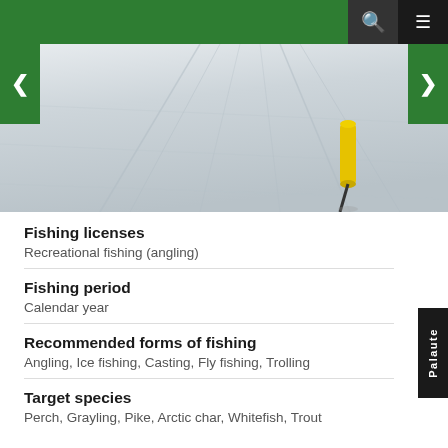[Figure (photo): Snowy frozen lake surface with ice fishing hole marker (yellow auger/post) visible. Snowmobile or ski tracks visible across the snow. Navigation arrows on left and right sides.]
Fishing licenses
Recreational fishing (angling)
Fishing period
Calendar year
Recommended forms of fishing
Angling, Ice fishing, Casting, Fly fishing, Trolling
Target species
Perch, Grayling, Pike, Arctic char, Whitefish, Trout